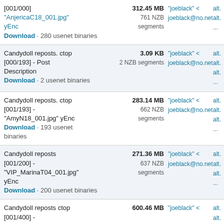[001/000] "AnjericaC18_001.jpg" yEnc Download · 280 usenet binaries | 312.45 MB 761 NZB segments | "joeblack" < joeblack@no.net | alt.binarie alt.binarie ...
Candydoll reposts. ctop [000/193] - Post Description Download · 2 usenet binaries | 3.09 KB 2 NZB segments | "joeblack" < joeblack@no.net | alt.binarie alt.binarie alt.binarie ...
Candydoll reposts. ctop [001/193] - "AmyN18_001.jpg" yEnc Download · 193 usenet binaries | 283.14 MB 662 NZB segments | "joeblack" < joeblack@no.net | alt.binarie alt.binarie alt.binarie ...
Candydoll reposts [001/200] - "VIP_MarinaT04_001.jpg" yEnc Download · 200 usenet binaries | 271.36 MB 637 NZB segments | "joeblack" < joeblack@no.net | alt.binarie alt.binarie alt.binarie ...
Candydoll reposts ctop [001/400] - "AlissaP53_001.jpg" yEnc | 600.46 MB | "joeblack" < | alt.binarie alt.binarie